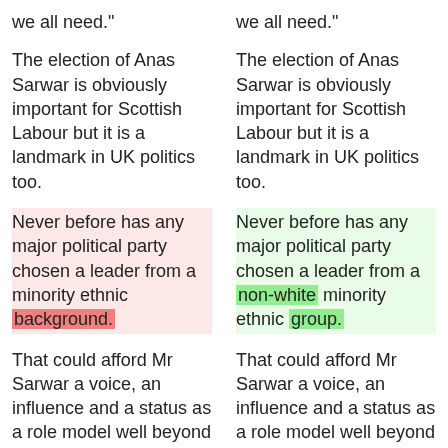we all need."
The election of Anas Sarwar is obviously important for Scottish Labour but it is a landmark in UK politics too.
Never before has any major political party chosen a leader from a minority ethnic background.
That could afford Mr Sarwar a voice, an influence and a status as a role model well beyond Scotland.
However, his primary job is to rebuild Labour in
we all need."
The election of Anas Sarwar is obviously important for Scottish Labour but it is a landmark in UK politics too.
Never before has any major political party chosen a leader from a non-white minority ethnic group.
That could afford Mr Sarwar a voice, an influence and a status as a role model well beyond Scotland.
However, his primary job is to rebuild Labour in